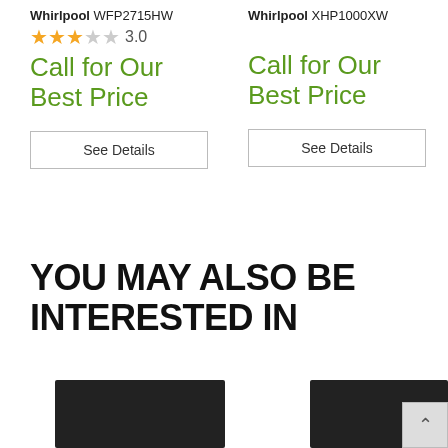Whirlpool WFP2715HW
3.0 stars (3 filled, 2 empty)
Call for Our Best Price
See Details
Whirlpool XHP1000XW
Call for Our Best Price
See Details
YOU MAY ALSO BE INTERESTED IN
[Figure (photo): Two dark/black appliances side by side, partially visible at bottom of page]
[Figure (other): Scroll-to-top button with upward arrow]